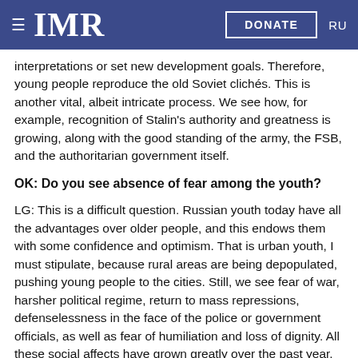IMR   DONATE   RU
interpretations or set new development goals. Therefore, young people reproduce the old Soviet clichés. This is another vital, albeit intricate process. We see how, for example, recognition of Stalin's authority and greatness is growing, along with the good standing of the army, the FSB, and the authoritarian government itself.
OK: Do you see absence of fear among the youth?
LG: This is a difficult question. Russian youth today have all the advantages over older people, and this endows them with some confidence and optimism. That is urban youth, I must stipulate, because rural areas are being depopulated, pushing young people to the cities. Still, we see fear of war, harsher political regime, return to mass repressions, defenselessness in the face of the police or government officials, as well as fear of humiliation and loss of dignity. All these social affects have grown greatly over the past year.
OK: What are the advantages that the youth have?